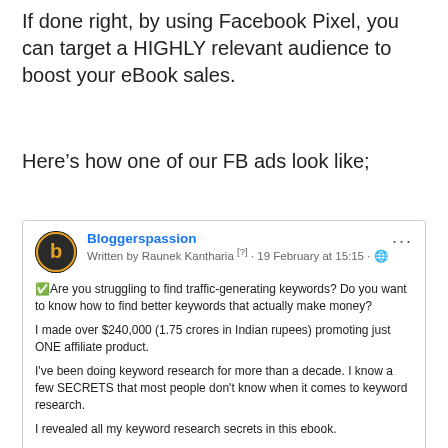If done right, by using Facebook Pixel, you can target a HIGHLY relevant audience to boost your eBook sales.
Here’s how one of our FB ads look like;
[Figure (screenshot): Facebook ad post from Bloggerspassion, written by Raunek Kantharia, dated 19 February at 15:15. Post text discusses finding traffic-generating keywords, making over $240,000 promoting one affiliate product, keyword research secrets, and an ebook. Includes a book cover image labeled KEYWORD RESEARCH at the bottom.]